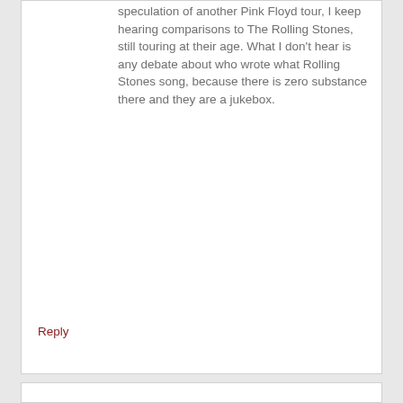speculation of another Pink Floyd tour, I keep hearing comparisons to The Rolling Stones, still touring at their age. What I don't hear is any debate about who wrote what Rolling Stones song, because there is zero substance there and they are a jukebox.
Reply